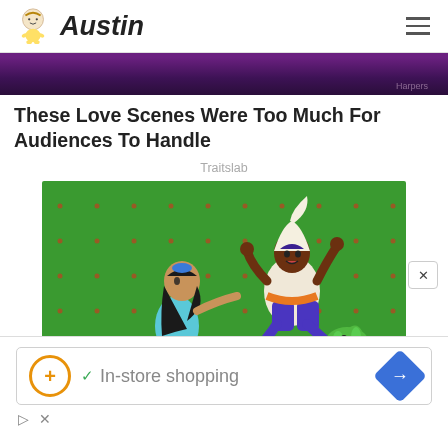Austin
[Figure (photo): Partial top strip of a dark purple/dark image (cropped, bottom portion of a photo above the article)]
These Love Scenes Were Too Much For Audiences To Handle
Traitslab
[Figure (illustration): Animated cartoon scene from Aladdin: Jasmine and Jafar on a green screen background with red dotted pattern. Jafar is leaping/hovering above while Jasmine reaches toward him.]
He Can Show You The World All
[Figure (screenshot): Advertisement overlay: white panel with orange circle logo with plus sign, green checkmark, text 'In-store shopping', blue diamond arrow icon. Below: play button triangle and X close icons.]